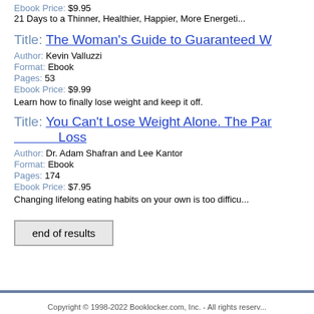Ebook Price: $9.95
21 Days to a Thinner, Healthier, Happier, More Energetic...
Title: The Woman's Guide to Guaranteed W...
Author: Kevin Valluzzi
Format: Ebook
Pages: 53
Ebook Price: $9.99
Learn how to finally lose weight and keep it off.
Title: You Can't Lose Weight Alone. The Par... Loss
Author: Dr. Adam Shafran and Lee Kantor
Format: Ebook
Pages: 174
Ebook Price: $7.95
Changing lifelong eating habits on your own is too difficu...
end of results
Copyright © 1998-2022 Booklocker.com, Inc. - All rights reserv...